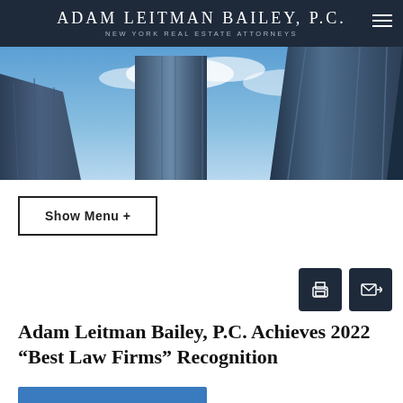ADAM LEITMAN BAILEY, P.C. | NEW YORK REAL ESTATE ATTORNEYS
[Figure (photo): Upward-angle photograph of tall glass skyscrapers against a blue sky with clouds]
Show Menu +
[Figure (other): Print icon button and email/send icon button on dark navy backgrounds]
Adam Leitman Bailey, P.C. Achieves 2022 “Best Law Firms” Recognition
[Figure (photo): Partial view of a blue-toned image at the bottom of the page]